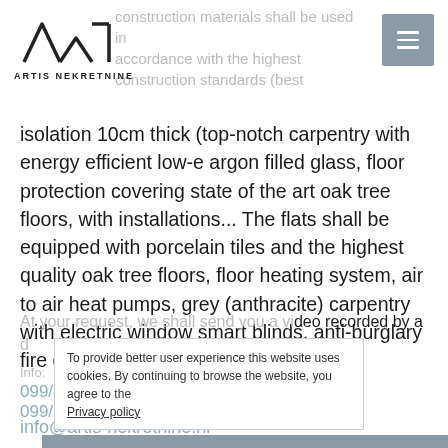ARTIS NEKRETNINE
isolation 10cm thick (top-notch carpentry with energy efficient low-e argon filled glass, floor protection covering state of the art oak tree floors, with installations... The flats shall be equipped with porcelain tiles and the highest quality oak tree floors, floor heating system, air to air heat pumps, grey (anthracite) carpentry with electric window smart blinds, anti-burglary fire doors...
At your request, we shall send you a video recorded by a drone...
To provide better user experience this website uses cookies. By continuing to browse the website, you agree to the Privacy policy
Info:
099/443-0450
099/200-3665
info@artis-nekretnine.hr